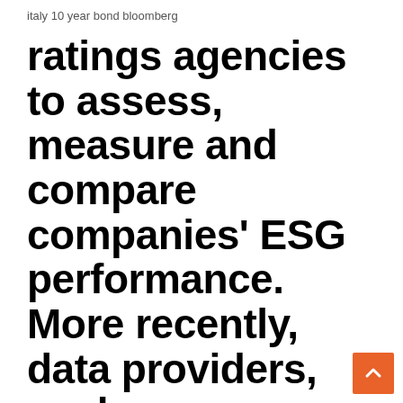italy 10 year bond bloomberg
ratings agencies to assess, measure and compare companies' ESG performance. More recently, data providers, such as Sensefolio, have applied artificial intelligence to rate companies and their commitment to ESG. Disclosure and regulation